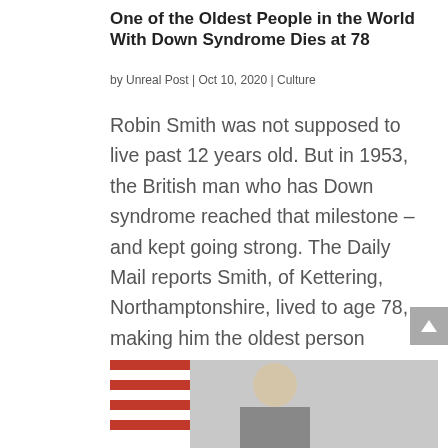One of the Oldest People in the World With Down Syndrome Dies at 78
by Unreal Post | Oct 10, 2020 | Culture
Robin Smith was not supposed to live past 12 years old. But in 1953, the British man who has Down syndrome reached that milestone – and kept going strong. The Daily Mail reports Smith, of Kettering, Northamptonshire, lived to age 78, making him the oldest person with...
[Figure (photo): Partial photo at bottom of page showing what appears to be a person in front of an American flag]